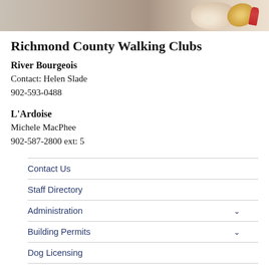[Figure (photo): Partial photo strip showing sandy or textured background with a decorative yarn/woven item]
Richmond County Walking Clubs
River Bourgeois
Contact: Helen Slade
902-593-0488
L'Ardoise
Michele MacPhee
902-587-2800 ext: 5
Contact Us
Staff Directory
Administration
Building Permits
Dog Licensing
Economic Development